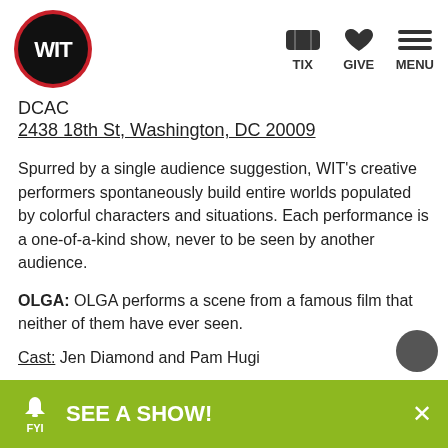[Figure (logo): WIT logo: white WIT text on black circle with red arc border]
TIX   GIVE   MENU
DCAC
2438 18th St, Washington, DC 20009
Spurred by a single audience suggestion, WIT's creative performers spontaneously build entire worlds populated by colorful characters and situations. Each performance is a one-of-a-kind show, never to be seen by another audience.
OLGA:  OLGA performs a scene from a famous film that neither of them have ever seen.
Cast:  Jen Diamond and Pam Hugi
Beverly Crusher: FIST Y Champions Beverly Crusher take
SEE A SHOW!